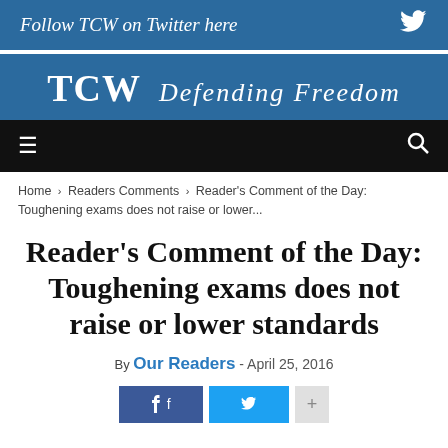Follow TCW on Twitter here
TCW Defending Freedom
Navigation bar with menu and search
Home › Readers Comments › Reader's Comment of the Day: Toughening exams does not raise or lower...
Reader's Comment of the Day: Toughening exams does not raise or lower standards
By Our Readers - April 25, 2016